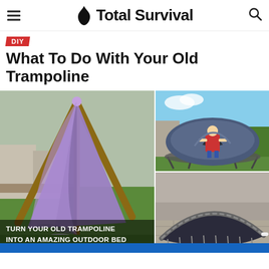Total Survival
DIY
What To Do With Your Old Trampoline
[Figure (photo): Collage of three photos showing creative trampoline reuse ideas: left - a purple teepee tent made from old trampoline frame with caption 'Turn your old trampoline into an amazing outdoor bed'; top right - a boy exiting a large dome tent cover placed over a trampoline; bottom right - a trampoline frame with a dark cover used as a shelter or outdoor bed structure.]